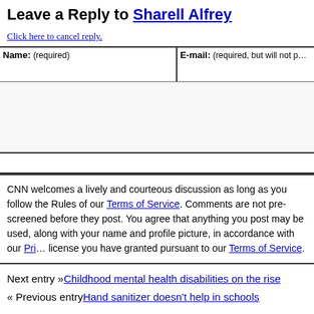Leave a Reply to Sharell Alfrey
Click here to cancel reply.
| Name: (required) | E-mail: (required, but will not be published) |
| --- | --- |
|   |   |
CNN welcomes a lively and courteous discussion as long as you follow the Rules of our Terms of Service. Comments are not pre-screened before they post. You agree that anything you post may be used, along with your name and profile picture, in accordance with our Privacy Policy and the license you have granted pursuant to our Terms of Service.
Next entry »Childhood mental health disabilities on the rise
« Previous entryHand sanitizer doesn't help in schools